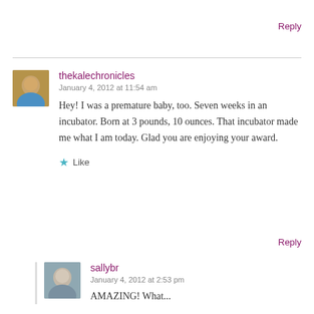Reply
thekalechronicles
January 4, 2012 at 11:54 am
Hey! I was a premature baby, too. Seven weeks in an incubator. Born at 3 pounds, 10 ounces. That incubator made me what I am today. Glad you are enjoying your award.
Like
Reply
sallybr
January 4, 2012 at 2:53 pm
AMAZING! What...